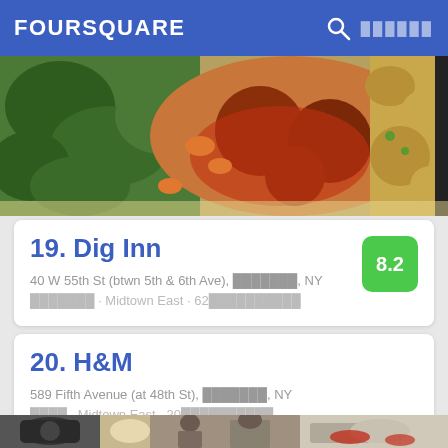FOURSQUARE
[Figure (photo): Food photo showing kale salad, meatballs in tomato sauce, and grain/rice dish in a tray]
19. Dig Inn
40 W 55th St (btwn 5th & 6th Ave), ███████, NY
███████ · Midtown East · 62██████████
20. H&M
589 Fifth Avenue (at 48th St), ███████, NY
████ · Midtown East · 20██████████
[Figure (photo): Bottom partial photo showing people at what appears to be a market or food stall]